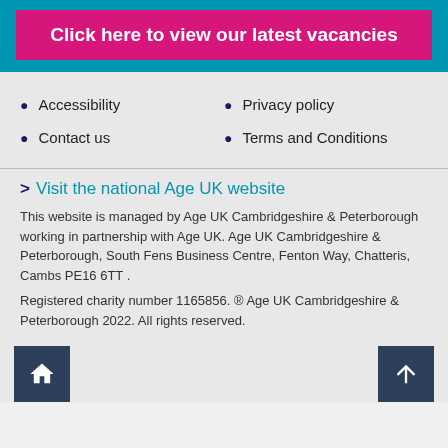Click here to view our latest vacancies
Accessibility
Privacy policy
Contact us
Terms and Conditions
> Visit the national Age UK website
This website is managed by Age UK Cambridgeshire & Peterborough working in partnership with Age UK. Age UK Cambridgeshire & Peterborough, South Fens Business Centre, Fenton Way, Chatteris, Cambs PE16 6TT .
Registered charity number 1165856. ® Age UK Cambridgeshire & Peterborough 2022. All rights reserved.